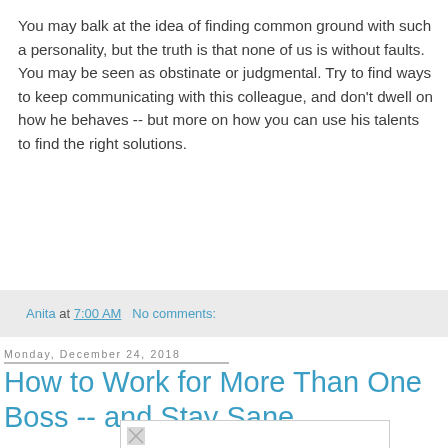You may balk at the idea of finding common ground with such a personality, but the truth is that none of us is without faults. You may be seen as obstinate or judgmental. Try to find ways to keep communicating with this colleague, and don't dwell on how he behaves -- but more on how you can use his talents to find the right solutions.
Anita at 7:00 AM   No comments:
Monday, December 24, 2018
How to Work for More Than One Boss -- and Stay Sane
[Figure (photo): Placeholder broken image box]